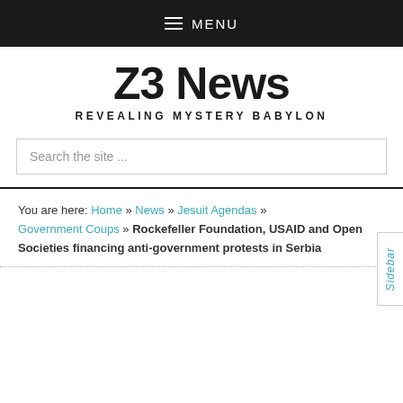≡ MENU
[Figure (logo): Z3 News logo with tagline REVEALING MYSTERY BABYLON]
Search the site ...
You are here: Home » News » Jesuit Agendas » Government Coups » Rockefeller Foundation, USAID and Open Societies financing anti-government protests in Serbia